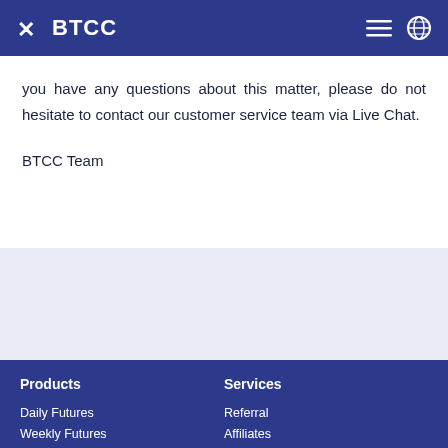BTCC
you have any questions about this matter, please do not hesitate to contact our customer service team via Live Chat.
BTCC Team
Products  Services  Daily Futures  Referral  Weekly Futures  Affiliates